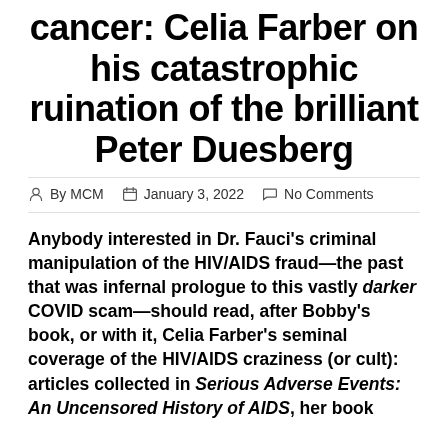cancer: Celia Farber on his catastrophic ruination of the brilliant Peter Duesberg
By MCM   January 3, 2022   No Comments
Anybody interested in Dr. Fauci's criminal manipulation of the HIV/AIDS fraud—the past that was infernal prologue to this vastly darker COVID scam—should read, after Bobby's book, or with it, Celia Farber's seminal coverage of the HIV/AIDS craziness (or cult): articles collected in Serious Adverse Events: An Uncensored History of AIDS, her book